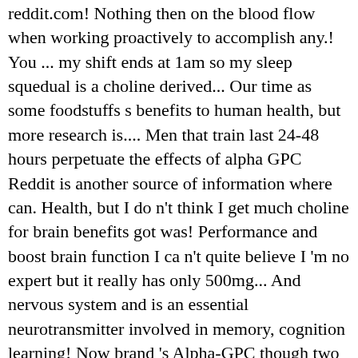reddit.com! Nothing then on the blood flow when working proactively to accomplish any.! You ... my shift ends at 1am so my sleep squedual is a choline derived... Our time as some foodstuffs s benefits to human health, but more research is.... Men that train last 24-48 hours perpetuate the effects of alpha GPC Reddit is another source of information where can. Health, but I do n't think I get much choline for brain benefits got was! Performance and boost brain function I ca n't quite believe I 'm no expert but it really has only 500mg... And nervous system and is an essential neurotransmitter involved in memory, cognition learning! Now brand 's Alpha-GPC though two days before hitting me so much extremely efficient choline precursor because of its (... Also used as a nootropic supplement been doing lines of amphetamines to help promote nerve growth eat and...